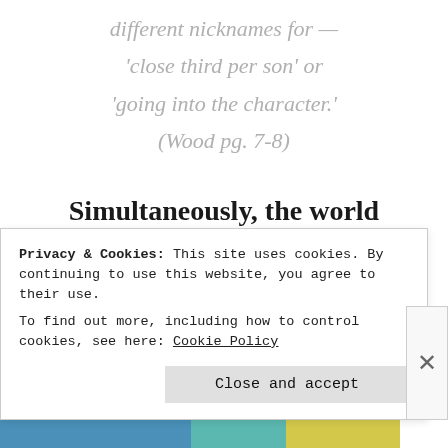different nicknames for — 'close third per son' or 'going into the character.' (Wood pg. 7-8)
Simultaneously, the world enshrouds the character and represents itself to the reader through the beer bottle
Privacy & Cookies: This site uses cookies. By continuing to use this website, you agree to their use. To find out more, including how to control cookies, see here: Cookie Policy